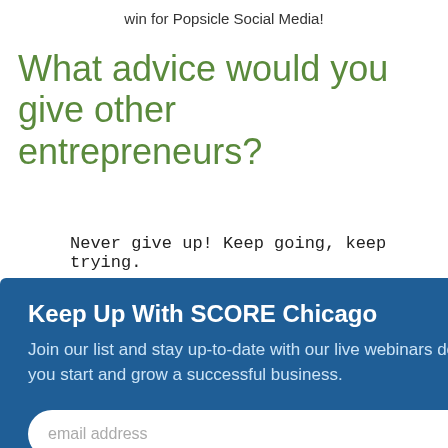win for Popsicle Social Media!
What advice would you give other entrepreneurs?
Never give up!  Keep going, keep trying.
[Figure (screenshot): Modal popup for 'Keep Up With SCORE Chicago' newsletter signup with email input and SUBMIT button on dark blue background]
popsiclesocialmedia.com
https://www.facebook.com/popsiclesocialmedia